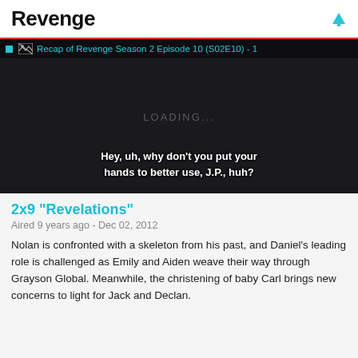Revenge
[Figure (screenshot): Video player showing a dark screen with 'LOADING...' text in the center and subtitle text at the bottom reading: Hey, uh, why don't you put your hands to better use, J.P., huh? The top bar shows a broken image icon and the text 'Recap of Revenge Season 2 Episode 10 (S02E10) - 1' in teal.]
2x9 "Revelations"
Aired 9 years ago - Dec 02, 2012
Nolan is confronted with a skeleton from his past, and Daniel's leading role is challenged as Emily and Aiden weave their way through Grayson Global. Meanwhile, the christening of baby Carl brings new concerns to light for Jack and Declan.